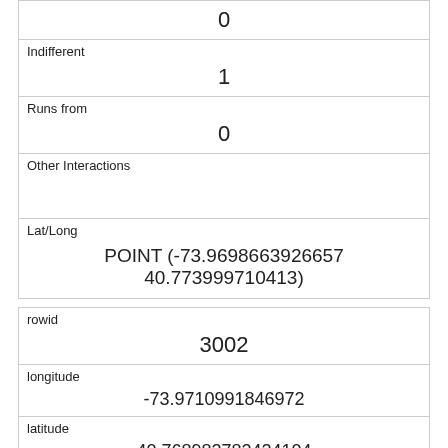|  | 0 |
| Indifferent | 1 |
| Runs from | 0 |
| Other Interactions |  |
| Lat/Long | POINT (-73.9698663926657 40.773999710413) |
| rowid | 3002 |
| longitude | -73.9710991846972 |
| latitude | 40.768982782424104 |
| Unique Squirrel ID | 6H-PM-1020-01 |
| Hectare | 06H |
| Shift |  |